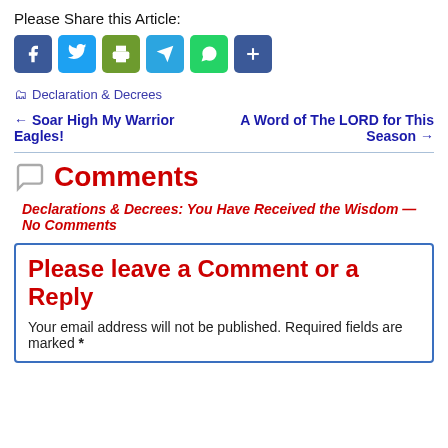Please Share this Article:
[Figure (infographic): Row of social share icon buttons: Facebook (blue), Twitter (light blue), Print (green), Telegram (blue), WhatsApp (green), Share (blue with plus sign)]
Declaration & Decrees
← Soar High My Warrior Eagles!
A Word of The LORD for This Season →
Comments
Declarations & Decrees: You Have Received the Wisdom — No Comments
Please leave a Comment or a Reply
Your email address will not be published. Required fields are marked *